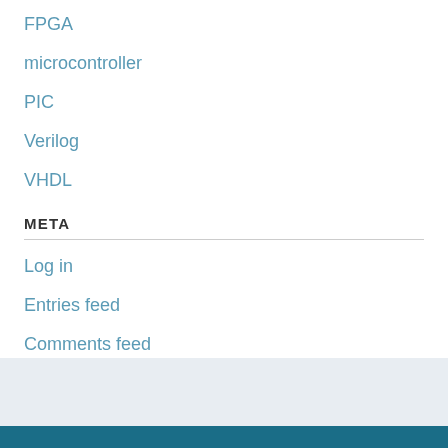FPGA
microcontroller
PIC
Verilog
VHDL
META
Log in
Entries feed
Comments feed
WordPress.org